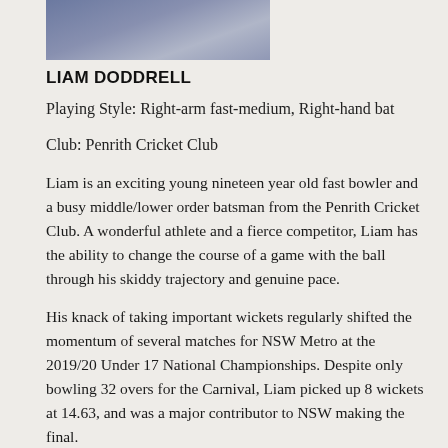[Figure (photo): Partial bottom of a player photo, cropped at top of page]
LIAM DODDRELL
Playing Style: Right-arm fast-medium, Right-hand bat
Club: Penrith Cricket Club
Liam is an exciting young nineteen year old fast bowler and a busy middle/lower order batsman from the Penrith Cricket Club. A wonderful athlete and a fierce competitor, Liam has the ability to change the course of a game with the ball through his skiddy trajectory and genuine pace.
His knack of taking important wickets regularly shifted the momentum of several matches for NSW Metro at the 2019/20 Under 17 National Championships. Despite only bowling 32 overs for the Carnival, Liam picked up 8 wickets at 14.63, and was a major contributor to NSW making the final.
Unfortunately, a serious back injury prevented Liam from